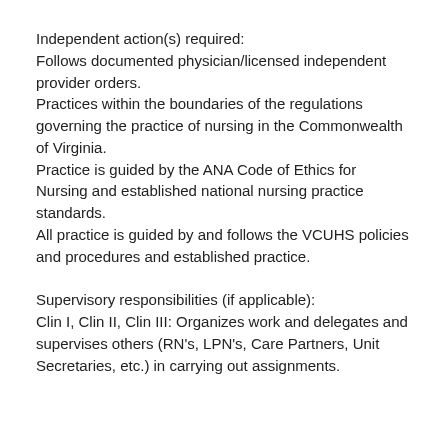Independent action(s) required:
Follows documented physician/licensed independent provider orders.
Practices within the boundaries of the regulations governing the practice of nursing in the Commonwealth of Virginia.
Practice is guided by the ANA Code of Ethics for Nursing and established national nursing practice standards.
All practice is guided by and follows the VCUHS policies and procedures and established practice.
Supervisory responsibilities (if applicable):
Clin I, Clin II, Clin III: Organizes work and delegates and supervises others (RN's, LPN's, Care Partners, Unit Secretaries, etc.) in carrying out assignments.